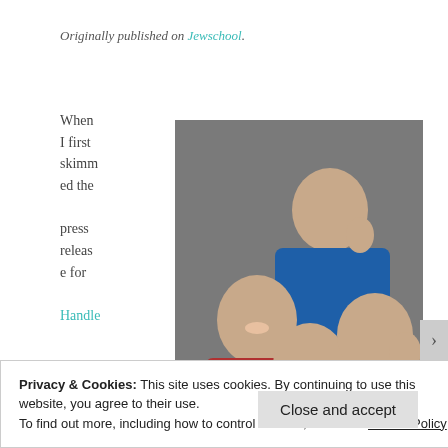Originally published on Jewschool.
[Figure (photo): Group photo of four people posing together: a man in blue at back giving thumbs up, a woman in red on left, an older woman in light purple in center with mouth open, and a man in blue-gray on right with hand raised to head. Gray background studio photo.]
When I first skimmed the press release for Handle
Privacy & Cookies: This site uses cookies. By continuing to use this website, you agree to their use.
To find out more, including how to control cookies, see here: Cookie Policy
Close and accept